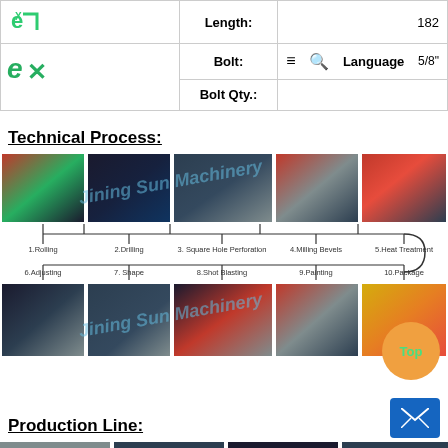| Field | Value |
| --- | --- |
| Length: | 182 |
| Bolt: | 5/8" |
| Bolt Qty.: |  |
Technical Process:
[Figure (infographic): Technical process flow diagram showing 10 steps: 1.Rolling, 2.Drilling, 3.Square Hole Perforation, 4.Milling Bevels, 5.Heat Treatment, 6.Adjusting, 7.Shape, 8.Shot Blasting, 9.Painting, 10.Package, with factory photos for each step and watermark 'Jining Sun Machinery']
Production Line:
[Figure (photo): Production line factory photos showing manufacturing floor, equipment, and machinery with watermark 'Jining Sun Machinery']